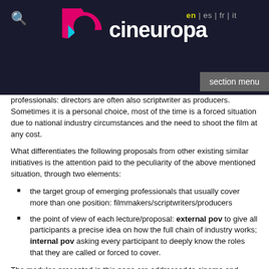cineuropa | en | es | fr | it
professionals: directors are often also scriptwriter as producers. Sometimes it is a personal choice, most of the time is a forced situation due to national industry circumstances and the need to shoot the film at any cost.
What differentiates the following proposals from other existing similar initiatives is the attention paid to the peculiarity of the above mentioned situation, through two elements:
the target group of emerging professionals that usually cover more than one position: filmmakers/scriptwriters/producers
the point of view of each lecture/proposal: external pov to give all participants a precise idea on how the full chain of industry works; internal pov asking every participant to deeply know the roles that they are called or forced to cover.
The modules presented in this page are addressed to cinema and audiovisual centres, film commissions, local and national authorities in charge of implementing cinema and audiovisual policies in their country.
Please contact Valerio Caruso caruso@cineuropa.org, for further details.